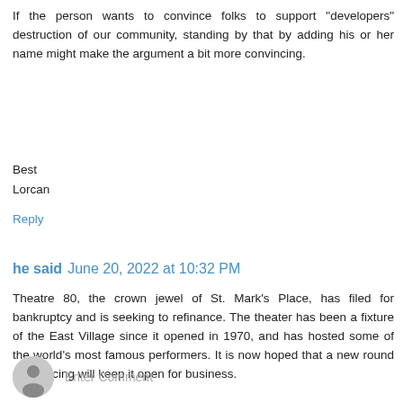If the person wants to convince folks to support "developers" destruction of our community, standing by that by adding his or her name might make the argument a bit more convincing.
Best
Lorcan
Reply
he said June 20, 2022 at 10:32 PM
Theatre 80, the crown jewel of St. Mark's Place, has filed for bankruptcy and is seeking to refinance. The theater has been a fixture of the East Village since it opened in 1970, and has hosted some of the world's most famous performers. It is now hoped that a new round of financing will keep it open for business.
Reply
Enter Comment